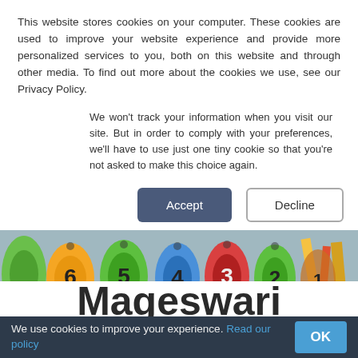This website stores cookies on your computer. These cookies are used to improve your website experience and provide more personalized services to you, both on this website and through other media. To find out more about the cookies we use, see our Privacy Policy.
We won't track your information when you visit our site. But in order to comply with your preferences, we'll have to use just one tiny cookie so that you're not asked to make this choice again.
Accept   Decline
[Figure (photo): Colorful numbered wooden toy blocks/beads arranged in a row showing numbers 6, 5, 4, 3, 2, 1, with pencils and school supplies visible on the right side.]
Meet
Mageswari
We use cookies to improve your experience. Read our policy   OK